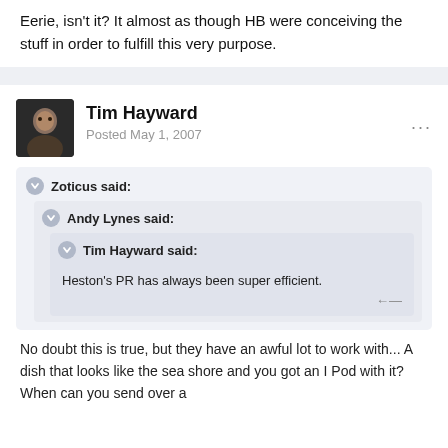Eerie, isn't it? It almost as though HB were conceiving the stuff in order to fulfill this very purpose.
Tim Hayward
Posted May 1, 2007
Zoticus said:
Andy Lynes said:
Tim Hayward said:
Heston's PR has always been super efficient.
No doubt this is true, but they have an awful lot to work with... A dish that looks like the sea shore and you got an I Pod with it? When can you send over a